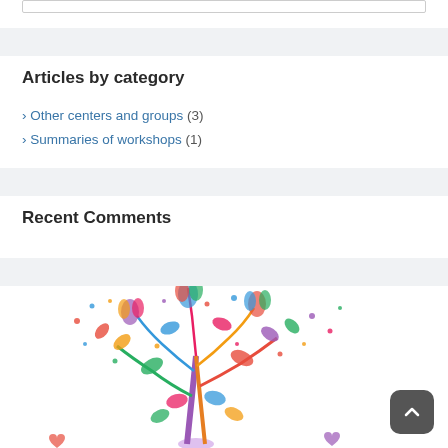Articles by category
> Other centers and groups (3)
> Summaries of workshops (1)
Recent Comments
[Figure (illustration): A colorful stylized tree illustration with multicolored leaves and tulip-shaped flowers made of mosaic/stained-glass patterns in rainbow colors on a white background.]